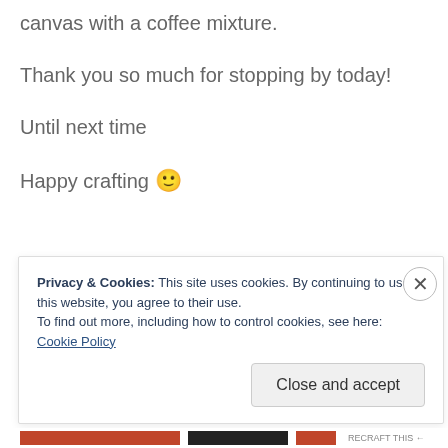canvas with a coffee mixture.
Thank you so much for stopping by today!
Until next time
Happy crafting 🙂
Privacy & Cookies: This site uses cookies. By continuing to use this website, you agree to their use.
To find out more, including how to control cookies, see here: Cookie Policy
Close and accept
RECRAFT THIS ←